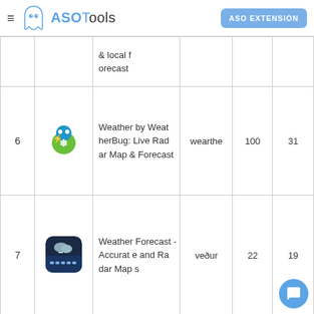ASOTools — ASO EXTENSION
| # | Icon | App Name | Keyword | Score | Rank |
| --- | --- | --- | --- | --- | --- |
|  |  | & local forecast |  |  |  |
| 6 | WeatherBug icon | Weather by WeatherBug: Live Radar Map & Forecast | wearthe | 100 | 31 |
| 7 | Weather Forecast icon | Weather Forecast - Accurate and Radar Maps | veður | 22 | 19 |